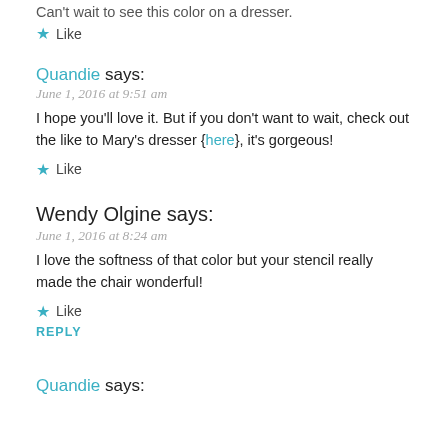Can't wait to see this color on a dresser.
Like
Quandie says:
June 1, 2016 at 9:51 am
I hope you'll love it. But if you don't want to wait, check out the like to Mary's dresser {here}, it's gorgeous!
Like
Wendy Olgine says:
June 1, 2016 at 8:24 am
I love the softness of that color but your stencil really made the chair wonderful!
Like
REPLY
Quandie says: